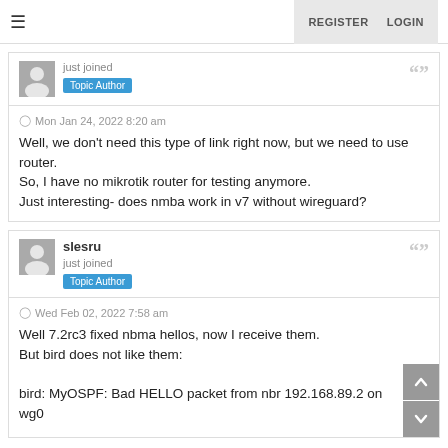≡  REGISTER  LOGIN
just joined
Topic Author
Mon Jan 24, 2022 8:20 am
Well, we don't need this type of link right now, but we need to use router.
So, I have no mikrotik router for testing anymore.
Just interesting- does nmba work in v7 without wireguard?
slesru
just joined
Topic Author
Wed Feb 02, 2022 7:58 am
Well 7.2rc3 fixed nbma hellos, now I receive them.
But bird does not like them:

bird: MyOSPF: Bad HELLO packet from nbr 192.168.89.2 on wg0